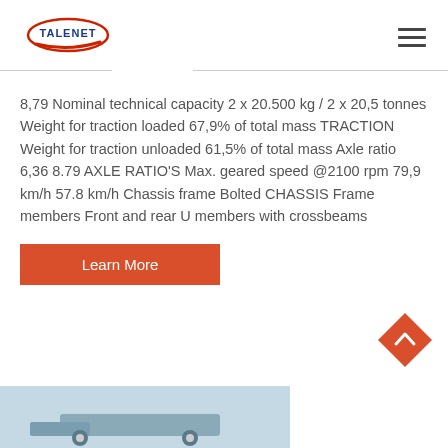[Figure (logo): Talenet logo with red swoosh and blue text]
8,79 Nominal technical capacity 2 x 20.500 kg / 2 x 20,5 tonnes Weight for traction loaded 67,9% of total mass TRACTION Weight for traction unloaded 61,5% of total mass Axle ratio 6,36 8.79 AXLE RATIO'S Max. geared speed @2100 rpm 79,9 km/h 57.8 km/h Chassis frame Bolted CHASSIS Frame members Front and rear U members with crossbeams
Learn More
[Figure (photo): Partial view of a truck/vehicle at the bottom of the page]